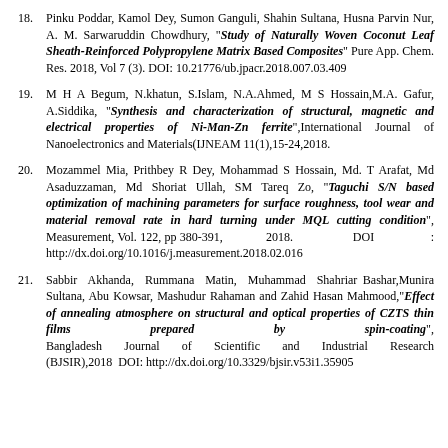Pinku Poddar, Kamol Dey, Sumon Ganguli, Shahin Sultana, Husna Parvin Nur, A. M. Sarwaruddin Chowdhury, "Study of Naturally Woven Coconut Leaf Sheath-Reinforced Polypropylene Matrix Based Composites" Pure App. Chem. Res. 2018, Vol 7 (3). DOI: 10.21776/ub.jpacr.2018.007.03.409
M H A Begum, N.khatun, S.Islam, N.A.Ahmed, M S Hossain,M.A. Gafur, A.Siddika, "Synthesis and characterization of structural, magnetic and electrical properties of Ni-Man-Zn ferrite",International Journal of Nanoelectronics and Materials(IJNEAM 11(1),15-24,2018.
Mozammel Mia, Prithbey R Dey, Mohammad S Hossain, Md. T Arafat, Md Asaduzzaman, Md Shoriat Ullah, SM Tareq Zo, "Taguchi S/N based optimization of machining parameters for surface roughness, tool wear and material removal rate in hard turning under MQL cutting condition", Measurement, Vol. 122, pp 380-391, 2018. DOI : http://dx.doi.org/10.1016/j.measurement.2018.02.016
Sabbir Akhanda, Rummana Matin, Muhammad Shahriar Bashar,Munira Sultana, Abu Kowsar, Mashudur Rahaman and Zahid Hasan Mahmood,"Effect of annealing atmosphere on structural and optical properties of CZTS thin films prepared by spin-coating", Bangladesh Journal of Scientific and Industrial Research (BJSIR),2018 DOI: http://dx.doi.org/10.3329/bjsir.v53i1.35905